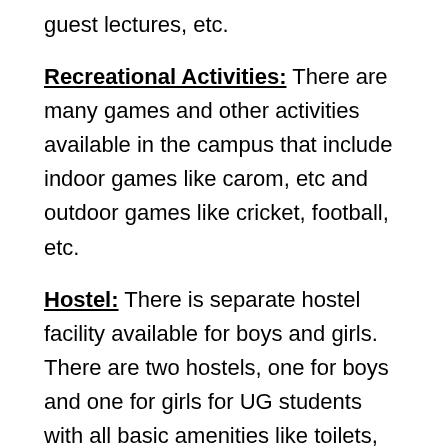guest lectures, etc.
Recreational Activities: There are many games and other activities available in the campus that include indoor games like carom, etc and outdoor games like cricket, football, etc.
Hostel: There is separate hostel facility available for boys and girls. There are two hostels, one for boys and one for girls for UG students with all basic amenities like toilets, beds, fans, water coolers, drinking water, etc.
Clinical Complex: There is availability of indoor accommodation for large animals, small